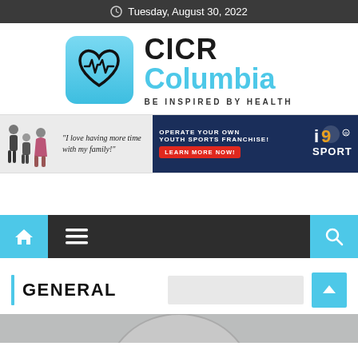Tuesday, August 30, 2022
[Figure (logo): CICR Columbia health logo with heart and ECG icon in light blue rounded square. Text reads CICR Columbia BE INSPIRED BY HEALTH]
[Figure (infographic): i9 Sports advertisement banner. Left shows family photo with quote 'I love having more time with my family!' Right shows dark blue section with text OPERATE YOUR OWN YOUTH SPORTS FRANCHISE! with red LEARN MORE NOW! button and i9 Sports logo]
[Figure (screenshot): Navigation bar with cyan home icon on left, hamburger menu in center, cyan search icon on right, all on dark background]
GENERAL
[Figure (photo): Partial circular image visible at bottom of page]